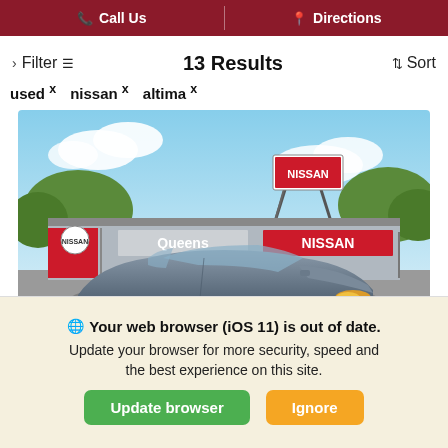Call Us   Directions
13 Results
Filter   Sort
used ×
nissan ×
altima ×
[Figure (photo): Photo of a gray Nissan Altima sedan parked in front of Queens Nissan dealership with a NISSAN sign on the building and billboard in background under blue sky with clouds.]
Your web browser (iOS 11) is out of date. Update your browser for more security, speed and the best experience on this site.
Update browser   Ignore